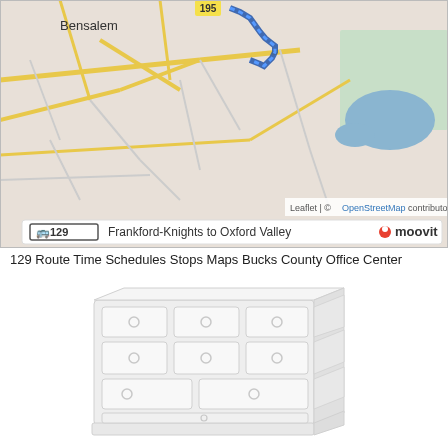[Figure (map): Street map showing Bensalem area with a bus route 129 Frankford-Knights to Oxford Valley highlighted. Leaflet / OpenStreetMap attribution visible. Moovit branding in lower right.]
129 Route Time Schedules Stops Maps Bucks County Office Center
[Figure (illustration): Illustration of a white dresser/chest of drawers with multiple drawers and round knob handles, shown in a 3D perspective view.]